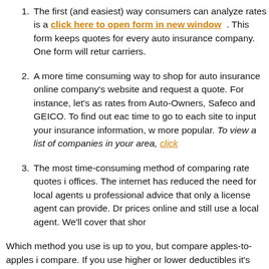The first (and easiest) way consumers can analyze rates is a [click here to open form in new window] . This form keeps quotes for every auto insurance company. One form will return carriers.
A more time consuming way to shop for auto insurance online company's website and request a quote. For instance, let's as rates from Auto-Owners, Safeco and GEICO. To find out each time to go to each site to input your insurance information, wh more popular. To view a list of companies in your area, click
The most time-consuming method of comparing rate quotes i offices. The internet has reduced the need for local agents u professional advice that only a license agent can provide. Dri prices online and still use a local agent. We'll cover that short
Which method you use is up to you, but compare apples-to-apples i compare. If you use higher or lower deductibles it's impossible to m a small difference in coverages may cause a big price difference. Ju more free quotes helps locate the best rates.
Discounts are great for lower rates